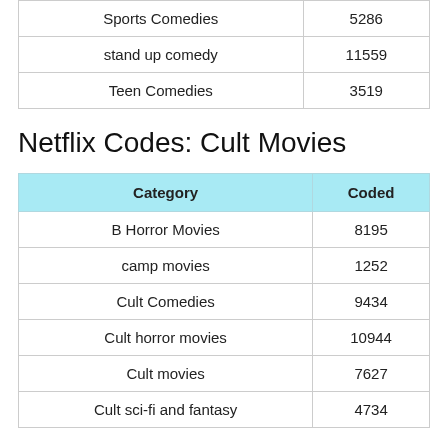| Category | Coded |
| --- | --- |
| Sports Comedies | 5286 |
| stand up comedy | 11559 |
| Teen Comedies | 3519 |
Netflix Codes: Cult Movies
| Category | Coded |
| --- | --- |
| B Horror Movies | 8195 |
| camp movies | 1252 |
| Cult Comedies | 9434 |
| Cult horror movies | 10944 |
| Cult movies | 7627 |
| Cult sci-fi and fantasy | 4734 |
Netflix Codes: Documentaries